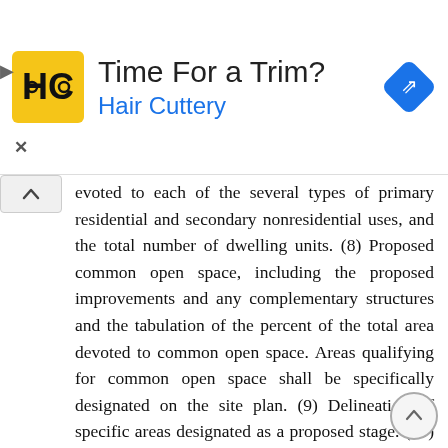[Figure (illustration): Advertisement banner for Hair Cuttery salon. Contains Hair Cuttery logo (HC in yellow square), text 'Time For a Trim?' in dark gray and 'Hair Cuttery' in blue, and a blue navigation arrow icon on the right. Navigation arrows and close button on the left side.]
evoted to each of the several types of primary residential and secondary nonresidential uses, and the total number of dwelling units. (8) Proposed common open space, including the proposed improvements and any complementary structures and the tabulation of the percent of the total area devoted to common open space. Areas qualifying for common open space shall be specifically designated on the site plan. (9) Delineation of specific areas designated as a proposed stage. (10) General statement indicating proposed means of drainage for the site to ensure conformity with natural drainage within the area or with the drainage plan established within the vicinity. (11) General location within the site of each primary residential use, secondary nonresidential use, and the proposed amount of land to be devoted to individual ownership. (12) The proposed method of dedication and administration of proposed common open space. (13)